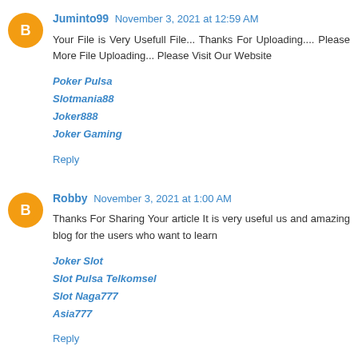Juminto99  November 3, 2021 at 12:59 AM
Your File is Very Usefull File... Thanks For Uploading.... Please More File Uploading... Please Visit Our Website
Poker Pulsa
Slotmania88
Joker888
Joker Gaming
Reply
Robby  November 3, 2021 at 1:00 AM
Thanks For Sharing Your article It is very useful us and amazing blog for the users who want to learn
Joker Slot
Slot Pulsa Telkomsel
Slot Naga777
Asia777
Reply